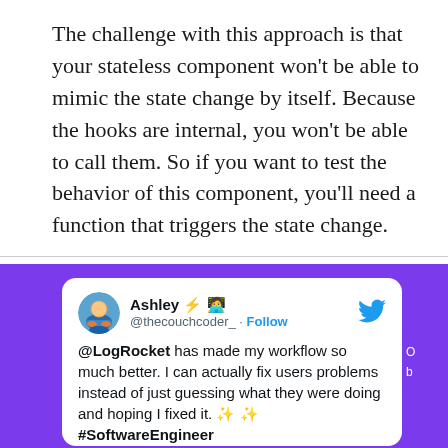The challenge with this approach is that your stateless component won't be able to mimic the state change by itself. Because the hooks are internal, you won't be able to call them. So if you want to test the behavior of this component, you'll need a function that triggers the state change.
[Figure (screenshot): Embedded tweet from @thecouchcoder_ (Ashley) on a purple background, stating '@LogRocket has made my workflow so much better. I can actually fix users problems instead of just guessing what they were doing and hoping I fixed it. ✨✨ #SoftwareEngineer']